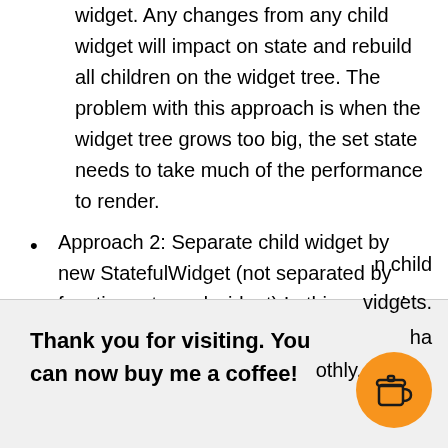use only one state stored at the root widget. Any changes from any child widget will impact on state and rebuild all children on the widget tree. The problem with this approach is when the widget tree grows too big, the set state needs to take much of the performance to render.
Approach 2: Separate child widget by new StatefulWidget (not separated by function returned widget) In this case, the state will be separated also. If you change state from root it will impact all cascade child of course. But if you change state on child …widgets. …has …othly.
Thank you for visiting. You can now buy me a coffee!